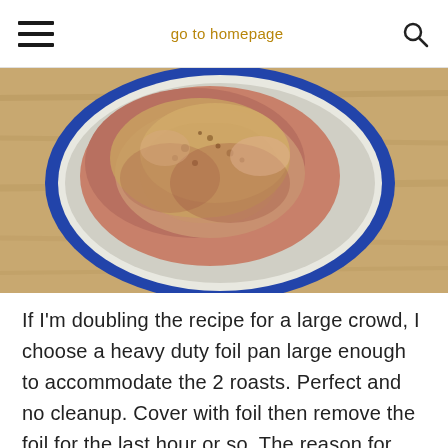☰  go to homepage  🔍
[Figure (photo): Overhead view of a raw seasoned pork roast with spice rub coating in a round white and blue enamel pan on a wooden surface.]
If I'm doubling the recipe for a large crowd, I choose a heavy duty foil pan large enough to accommodate the 2 roasts. Perfect and no cleanup. Cover with foil then remove the foil for the last hour or so. The reason for covering